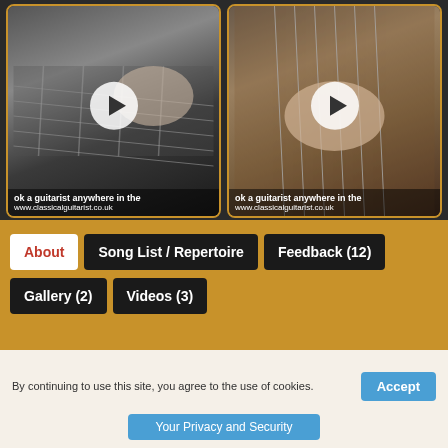[Figure (screenshot): Two video thumbnails side by side showing close-up of guitar playing hands with play buttons overlaid. Each thumbnail has overlay text: 'ok a guitarist anywhere in th' and 'www.classicalguitarist.co.uk'. Videos have golden border and are on a dark background.]
About
Song List / Repertoire
Feedback (12)
Gallery (2)
Videos (3)
John Parks - Classical Guitarist
By continuing to use this site, you agree to the use of cookies.
Accept
Your Privacy and Security